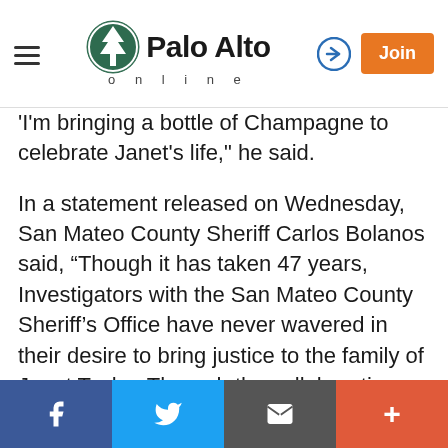Palo Alto online
'I'm bringing a bottle of Champagne to celebrate Janet's life," he said.
In a statement released on Wednesday, San Mateo County Sheriff Carlos Bolanos said, “Though it has taken 47 years, Investigators with the San Mateo County Sheriff’s Office have never wavered in their desire to bring justice to the family of Janet Taylor. Through the collaborative efforts of the Investigations Cold Case Unit, the Sheriff’s Investigations Bureau, and the District Attorney’s Office, we are proud to have finally secured a guilty verdict and closure in this horrific case. I would finally like to thank the jury for all their hard work and dedication…
Social share bar: Facebook, Twitter, Email, More